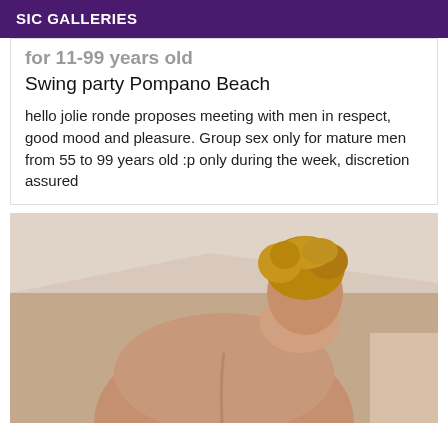SIC GALLERIES
for 11-99 years old
Swing party Pompano Beach
hello jolie ronde proposes meeting with men in respect, good mood and pleasure. Group sex only for mature men from 55 to 99 years old :p only during the week, discretion assured
[Figure (photo): Photo of a person seen from behind with short blond/auburn curly hair, bare back and shoulders, indoor setting with neutral walls]